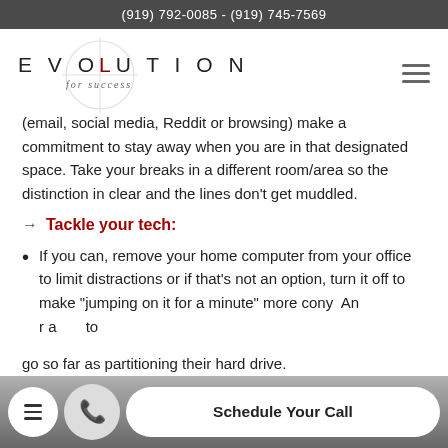(919) 792-0085 - (919) 745-7569
[Figure (logo): Evolution for Success logo with circular crosshair graphic and stylized text]
(email, social media, Reddit or browsing) make a commitment to stay away when you are in that designated space. Take your breaks in a different room/area so the distinction in clear and the lines don’t get muddled.
→  Tackle your tech:
If you can, remove your home computer from your office to limit distractions or if that’s not an option, turn it off to make “jumping on it for a minute” more cony An r a to
go so far as partitioning their hard drive.